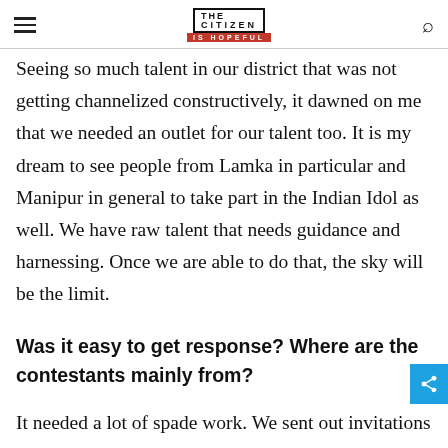THE CITIZEN IS HOPEFUL
Seeing so much talent in our district that was not getting channelized constructively, it dawned on me that we needed an outlet for our talent too. It is my dream to see people from Lamka in particular and Manipur in general to take part in the Indian Idol as well. We have raw talent that needs guidance and harnessing. Once we are able to do that, the sky will be the limit.
Was it easy to get response? Where are the contestants mainly from?
It needed a lot of spade work. We sent out invitations in leading local newspapers, cable networks and social